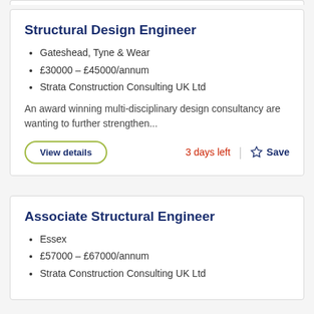Structural Design Engineer
Gateshead, Tyne & Wear
£30000 – £45000/annum
Strata Construction Consulting UK Ltd
An award winning multi-disciplinary design consultancy are wanting to further strengthen...
View details
3 days left
Save
Associate Structural Engineer
Essex
£57000 – £67000/annum
Strata Construction Consulting UK Ltd